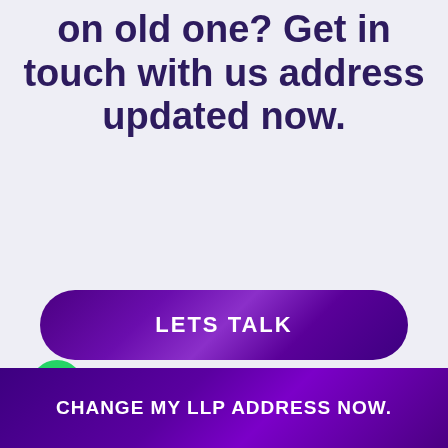on old one? Get in touch with us address updated now.
[Figure (other): Purple pill-shaped call-to-action button with text LETS TALK]
[Figure (other): WhatsApp green circle icon with chat bubble saying Questions? Let's Chat]
CHANGE MY LLP ADDRESS NOW.